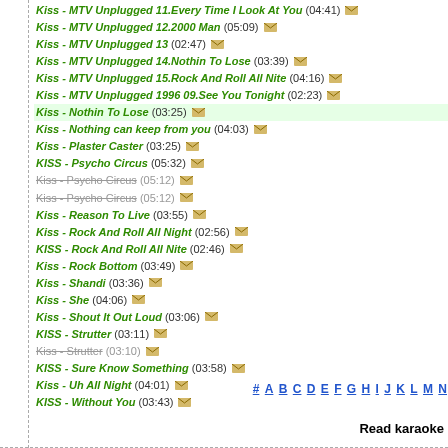Kiss - MTV Unplugged 11.Every Time I Look At You (04:41)
Kiss - MTV Unplugged 12.2000 Man (05:09)
Kiss - MTV Unplugged 13 (02:47)
Kiss - MTV Unplugged 14.Nothin To Lose (03:39)
Kiss - MTV Unplugged 15.Rock And Roll All Nite (04:16)
Kiss - MTV Unplugged 1996 09.See You Tonight (02:23)
Kiss - Nothin To Lose (03:25)
Kiss - Nothing can keep from you (04:03)
Kiss - Plaster Caster (03:25)
KISS - Psycho Circus (05:32)
Kiss - Psycho Circus (05:12) [dim]
Kiss - Psycho Circus (05:12) [dim]
Kiss - Reason To Live (03:55)
Kiss - Rock And Roll All Night (02:56)
KISS - Rock And Roll All Nite (02:46)
Kiss - Rock Bottom (03:49)
Kiss - Shandi (03:36)
Kiss - She (04:06)
Kiss - Shout It Out Loud (03:06)
KISS - Strutter (03:11)
Kiss - Strutter (03:10) [dim]
KISS - Sure Know Something (03:58)
Kiss - Uh All Night (04:01)
KISS - Without You (03:43)
# A B C D E F G H I J K L M N
Read karaoke